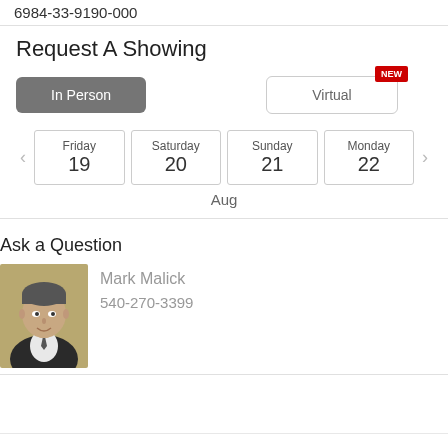6984-33-9190-000
Request A Showing
In Person | Virtual (NEW)
Friday 19 | Saturday 20 | Sunday 21 | Monday 22 | Aug
Ask a Question
Mark Malick
540-270-3399